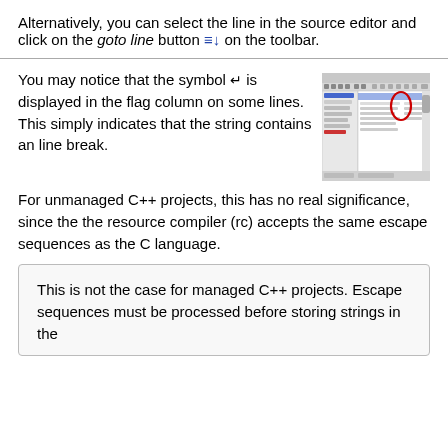Alternatively, you can select the line in the source editor and click on the goto line button ≡↓ on the toolbar.
You may notice that the symbol ↵ is displayed in the flag column on some lines. This simply indicates that the string contains an line break.
[Figure (screenshot): Screenshot of a source editor window showing a list of strings with a flag column, one item highlighted in blue and a red circle highlighting a symbol in the flag column.]
For unmanaged C++ projects, this has no real significance, since the the resource compiler (rc) accepts the same escape sequences as the C language.
This is not the case for managed C++ projects. Escape sequences must be processed before storing strings in the